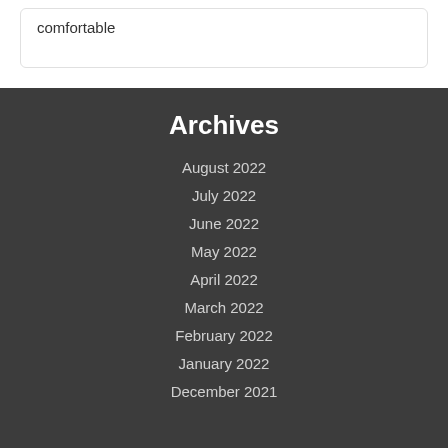comfortable
Archives
August 2022
July 2022
June 2022
May 2022
April 2022
March 2022
February 2022
January 2022
December 2021